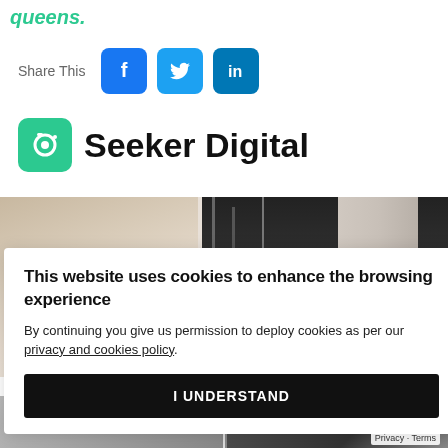queens.
Share This
[Figure (logo): Facebook, Twitter, LinkedIn social share icons]
[Figure (logo): Seeker Digital brand logo with camera icon]
Seeker Digital
[Figure (photo): Two building/architectural photographs side by side]
This website uses cookies to enhance the browsing experience
By continuing you give us permission to deploy cookies as per our privacy and cookies policy.
I UNDERSTAND
[Figure (photo): Bottom strip of photos partially visible]
Privacy · Terms